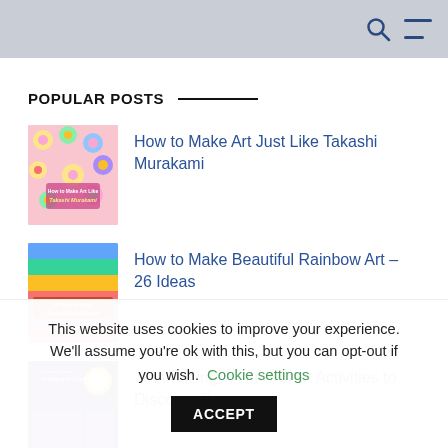POPULAR POSTS
[Figure (illustration): Book cover: How to Make Art Just Like Takashi Murakami — colorful flower pattern]
How to Make Art Just Like Takashi Murakami
[Figure (illustration): Book cover: 26 Ways to Make Beautiful Rainbows — rainbow art collage]
How to Make Beautiful Rainbow Art – 26 Ideas
[Figure (illustration): Book cover: 18 Amazing Art and Craft Activities to Discover Space]
18 Amazing Art and Craft Activities to Discover Space
This website uses cookies to improve your experience. We'll assume you're ok with this, but you can opt-out if you wish. Cookie settings ACCEPT